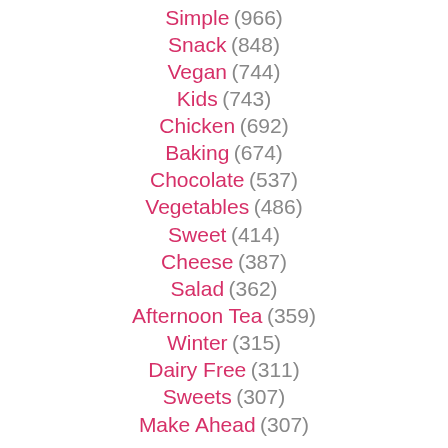Simple (966)
Snack (848)
Vegan (744)
Kids (743)
Chicken (692)
Baking (674)
Chocolate (537)
Vegetables (486)
Sweet (414)
Cheese (387)
Salad (362)
Afternoon Tea (359)
Winter (315)
Dairy Free (311)
Sweets (307)
Make Ahead (307)